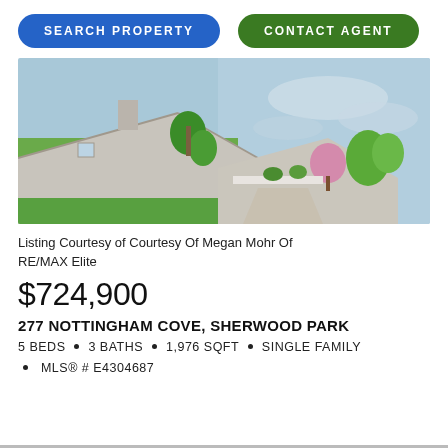SEARCH PROPERTY  CONTACT AGENT
[Figure (photo): Aerial view of a residential property showing rooftop, green trees, lawn, and a lake or pond in the background]
Listing Courtesy of Courtesy Of Megan Mohr Of RE/MAX Elite
$724,900
277 NOTTINGHAM COVE, SHERWOOD PARK
5 BEDS • 3 BATHS • 1,976 SQFT • SINGLE FAMILY • MLS® # E4304687